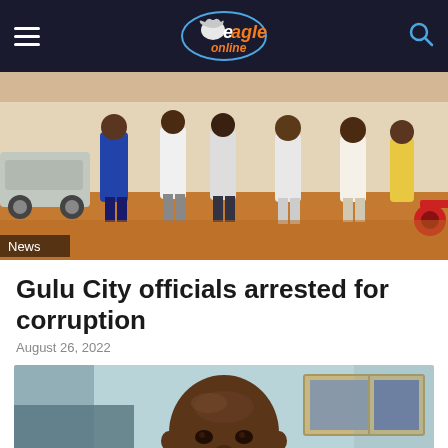Eagle Online
[Figure (photo): Group of people standing outdoors on a red dirt ground near vehicles, with a motorcycle visible on the right. A 'News' badge appears in the bottom-left corner.]
Gulu City officials arrested for corruption
August 26, 2022
[Figure (photo): Close-up portrait of a man in a suit seated at a desk, with framed photos visible on the wall behind him.]